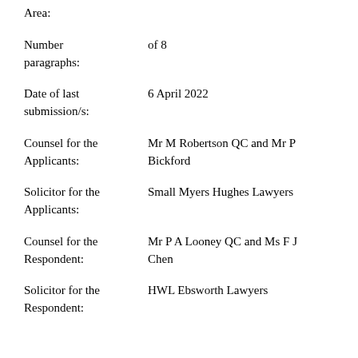Area:
Number of 8 paragraphs:
Date of last submission/s:   6 April 2022
Counsel for the Applicants:   Mr M Robertson QC and Mr P Bickford
Solicitor for the Applicants:   Small Myers Hughes Lawyers
Counsel for the Respondent:   Mr P A Looney QC and Ms F J Chen
Solicitor for the Respondent:   HWL Ebsworth Lawyers